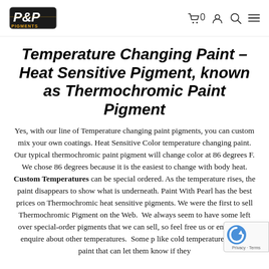P&P Pigments logo and navigation icons
Temperature Changing Paint – Heat Sensitive Pigment, known as Thermochromic Paint Pigment
Yes, with our line of Temperature changing paint pigments, you can custom mix your own coatings. Heat Sensitive Color temperature changing paint. Our typical thermochromic paint pigment will change color at 86 degrees F. We chose 86 degrees because it is the easiest to change with body heat. Custom Temperatures can be special ordered. As the temperature rises, the paint disappears to show what is underneath. Paint With Pearl has the best prices on Thermochromic heat sensitive pigments. We were the first to sell Thermochromic Pigment on the Web.  We always seem to have some left over special-order pigments that we can sell, so feel free us or email us to enquire about other temperatures.  Some p like cold temperature change paint that can let them know if they like cold temperature change paint that can let them know if they